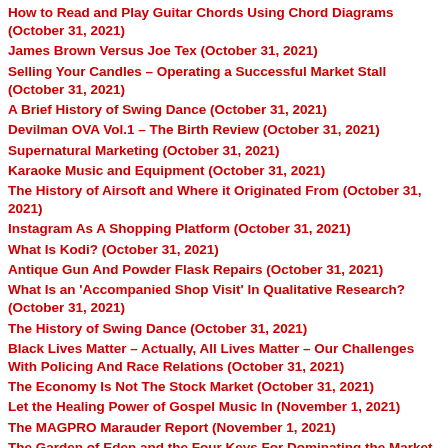How to Read and Play Guitar Chords Using Chord Diagrams (October 31, 2021)
James Brown Versus Joe Tex (October 31, 2021)
Selling Your Candles – Operating a Successful Market Stall (October 31, 2021)
A Brief History of Swing Dance (October 31, 2021)
Devilman OVA Vol.1 – The Birth Review (October 31, 2021)
Supernatural Marketing (October 31, 2021)
Karaoke Music and Equipment (October 31, 2021)
The History of Airsoft and Where it Originated From (October 31, 2021)
Instagram As A Shopping Platform (October 31, 2021)
What Is Kodi? (October 31, 2021)
Antique Gun And Powder Flask Repairs (October 31, 2021)
What Is an 'Accompanied Shop Visit' In Qualitative Research? (October 31, 2021)
The History of Swing Dance (October 31, 2021)
Black Lives Matter – Actually, All Lives Matter – Our Challenges With Policing And Race Relations (October 31, 2021)
The Economy Is Not The Stock Market (October 31, 2021)
Let the Healing Power of Gospel Music In (November 1, 2021)
The MAGPRO Marauder Report (November 1, 2021)
The Garden of Eden and the Four Keys For Dominating the Market Place (November 1, 2021)